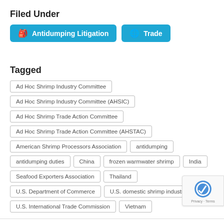Filed Under
Antidumping Litigation
Trade
Tagged
Ad Hoc Shrimp Industry Committee
Ad Hoc Shrimp Industry Committee (AHSIC)
Ad Hoc Shrimp Trade Action Committee
Ad Hoc Shrimp Trade Action Committee (AHSTAC)
American Shrimp Processors Association
antidumping
antidumping duties
China
frozen warmwater shrimp
India
Seafood Exporters Association
Thailand
U.S. Department of Commerce
U.S. domestic shrimp industry
U.S. International Trade Commission
Vietnam
Sunset Review of Shrimp